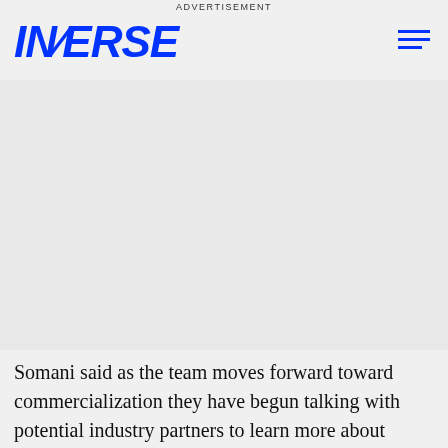ADVERTISEMENT
INVERSE
[Figure (other): Gray advertisement placeholder area]
Somani said as the team moves forward toward commercialization they have begun talking with potential industry partners to learn more about specific concerns and how this technology could most effectively be